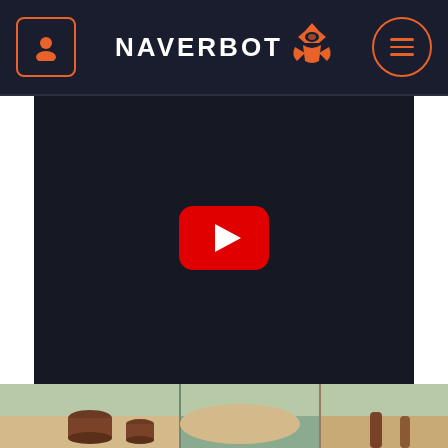NAVERBOT navigation bar with user icon and menu icon
[Figure (screenshot): Dark navy background video embed area with YouTube play button in center]
[Figure (screenshot): Bottom strip showing game scene with sandy and teal terrain and brown cylindrical objects]